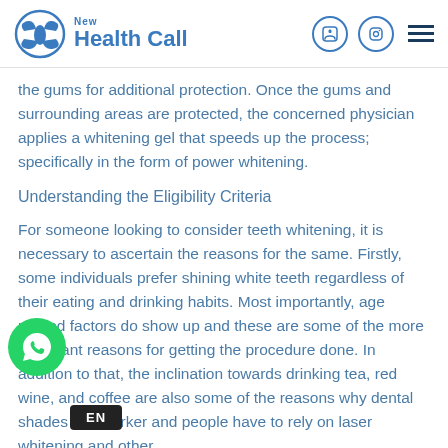New Health Call
the gums for additional protection. Once the gums and surrounding areas are protected, the concerned physician applies a whitening gel that speeds up the process; specifically in the form of power whitening.
Understanding the Eligibility Criteria
For someone looking to consider teeth whitening, it is necessary to ascertain the reasons for the same. Firstly, some individuals prefer shining white teeth regardless of their eating and drinking habits. Most importantly, age related factors do show up and these are some of the more important reasons for getting the procedure done. In addition to that, the inclination towards drinking tea, red wine, and coffee are also some of the reasons why dental shades turn darker and people have to rely on laser whitening and other